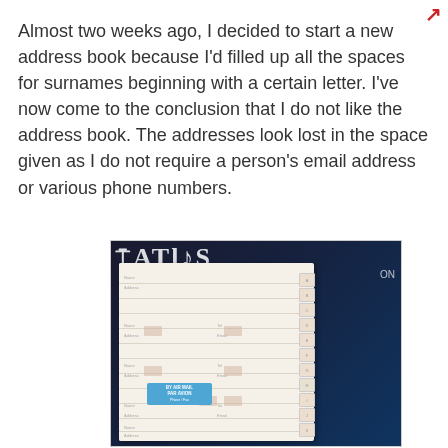Almost two weeks ago, I decided to start a new address book because I'd filled up all the spaces for surnames beginning with a certain letter. I've now come to the conclusion that I do not like the address book. The addresses look lost in the space given as I do not require a person's email address or various phone numbers.
[Figure (photo): A photograph of an open address book showing a mostly blank page with some faint handwritten entries, a blue airmail sticker, and alphabet tabs on the right side. The book is lying on a dark background with text from what appears to be an atlas visible in the upper portion.]